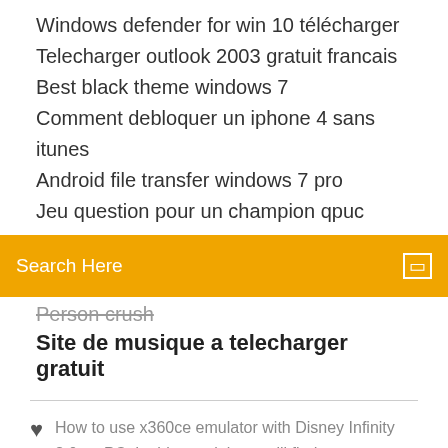Windows defender for win 10 télécharger
Telecharger outlook 2003 gratuit francais
Best black theme windows 7
Comment debloquer un iphone 4 sans itunes
Android file transfer windows 7 pro
Jeu question pour un champion qpuc
Search Here
Person crush
Site de musique a telecharger gratuit
How to use x360ce emulator with Disney Infinity 3.0 on PC. In this tutorial you will find steps to make x360ce work with Disney Infinity 3.0. This method also works with any game – just do the same easy steps, no special skills needed to make any controller work as an Xbox 360 gamepad. Emulator allows your controller (joystick, wheel, gamepad, etc.) to operate as the most common